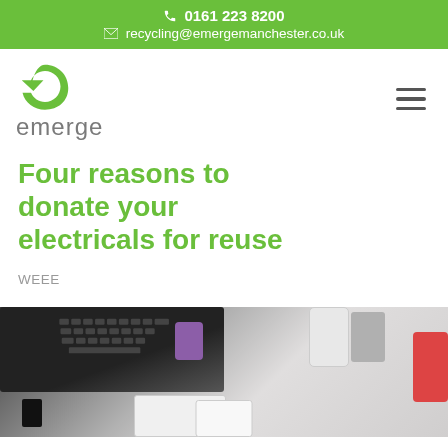📞 0161 223 8200
✉ recycling@emergemanchester.co.uk
[Figure (logo): Emerge recycling company logo: green circular arrow 'e' symbol with grey 'emerge' wordmark below]
Four reasons to donate your electricals for reuse
WEEE
[Figure (photo): Overhead photo of various electrical items including a laptop keyboard, purple camera, white cordless phone, smartphones, tablet, charger, and other electronic devices arranged on a surface]